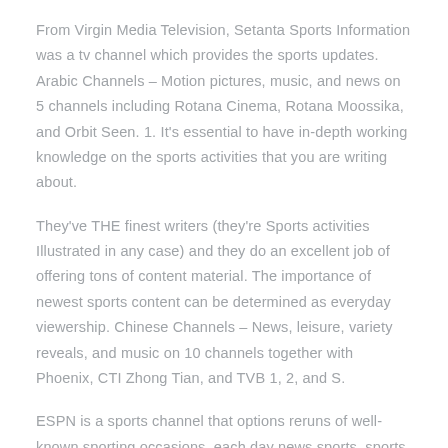From Virgin Media Television, Setanta Sports Information was a tv channel which provides the sports updates. Arabic Channels – Motion pictures, music, and news on 5 channels including Rotana Cinema, Rotana Moossika, and Orbit Seen. 1. It's essential to have in-depth working knowledge on the sports activities that you are writing about.
They've THE finest writers (they're Sports activities Illustrated in any case) and they do an excellent job of offering tons of content material. The importance of newest sports content can be determined as everyday viewership. Chinese Channels – News, leisure, variety reveals, and music on 10 channels together with Phoenix, CTI Zhong Tian, and TVB 1, 2, and S.
ESPN is a sports channel that options reruns of well-known sporting occasions, each day news sports, sports